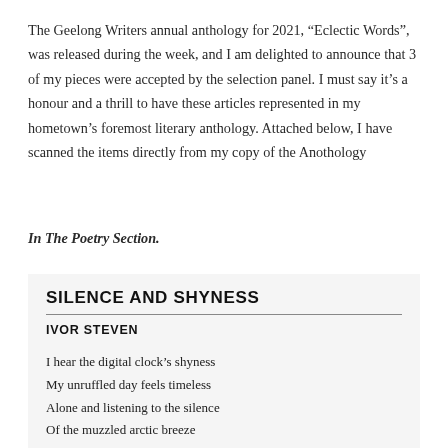The Geelong Writers annual anthology for 2021, “Eclectic Words”, was released during the week, and I am delighted to announce that 3 of my pieces were accepted by the selection panel. I must say it’s a honour and a thrill to have these articles represented in my hometown’s foremost literary anthology. Attached below, I have scanned the items directly from my copy of the Anothology
In The Poetry Section.
SILENCE AND SHYNESS
IVOR STEVEN
I hear the digital clock’s shyness
My unruffled day feels timeless
Alone and listening to the silence
Of the muzzled arctic breeze
A quiet zephyr’s foreboding freeze